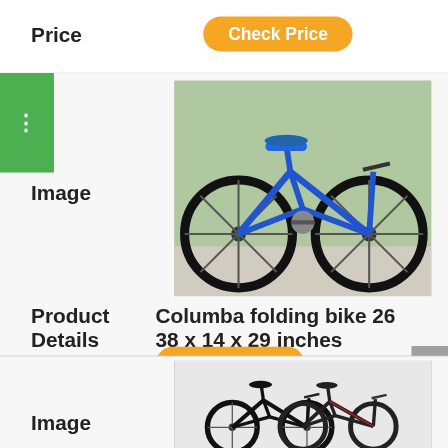Price
Check Price
Image
[Figure (photo): Blue Columba folding bike 26, side view on pavement]
Product
Columba folding bike 26
Details
38 x 14 x 29 inches
Price
Check Price
Image
[Figure (photo): Black folding bike, partial view, two bikes overlapping]